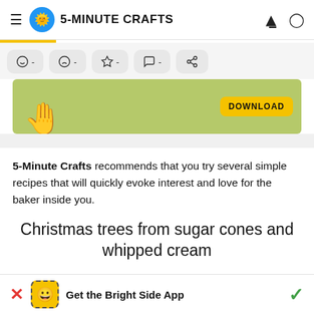5-MINUTE CRAFTS
[Figure (screenshot): Action bar with emoji icons: smiley -, sad face -, star -, comment -, share]
[Figure (photo): Ad banner with green background, hand holding something, and a yellow DOWNLOAD button]
5-Minute Crafts recommends that you try several simple recipes that will quickly evoke interest and love for the baker inside you.
Christmas trees from sugar cones and whipped cream
Get the Bright Side App